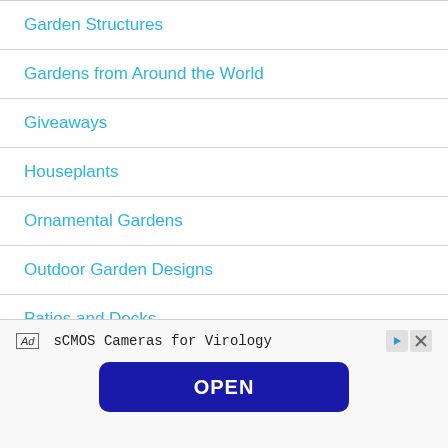Garden Structures
Gardens from Around the World
Giveaways
Houseplants
Ornamental Gardens
Outdoor Garden Designs
Patios and Decks
Ad  sCMOS Cameras for Virology  OPEN